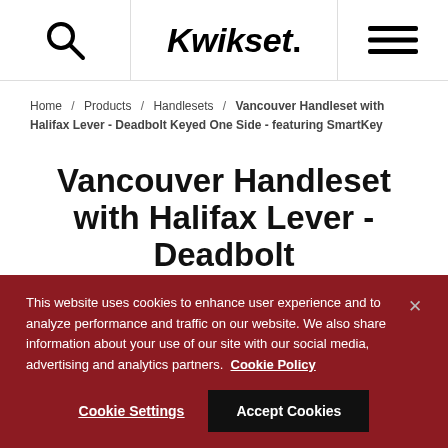Kwikset
Home / Products / Handlesets / Vancouver Handleset with Halifax Lever - Deadbolt Keyed One Side - featuring SmartKey
Vancouver Handleset with Halifax Lever - Deadbolt Keyed One Side - featuring SmartKey
This website uses cookies to enhance user experience and to analyze performance and traffic on our website. We also share information about your use of our site with our social media, advertising and analytics partners. Cookie Policy
Cookie Settings  Accept Cookies